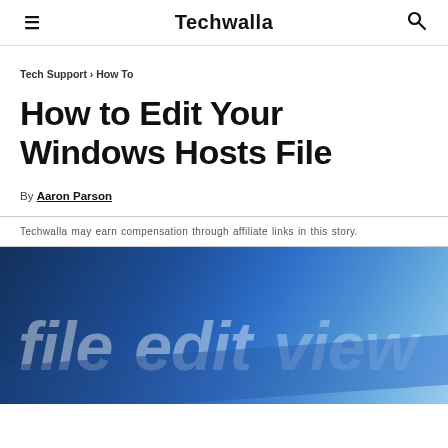≡  Techwalla  🔍
Tech Support › How To
How to Edit Your Windows Hosts File
By Aaron Parson
Techwalla may earn compensation through affiliate links in this story.
[Figure (photo): Close-up of a menu bar showing 'file', 'edit', and 'view' options in white italic text on a blue gradient background, resembling a Windows application menu.]